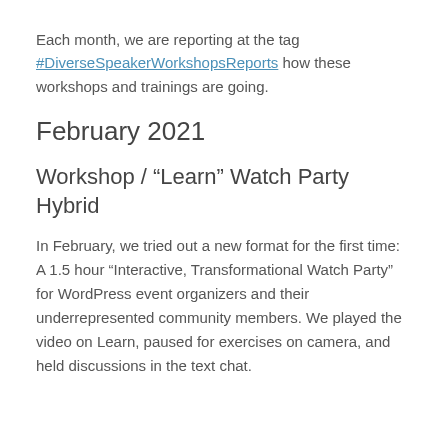Each month, we are reporting at the tag #DiverseSpeakerWorkshopsReports how these workshops and trainings are going.
February 2021
Workshop / “Learn” Watch Party Hybrid
In February, we tried out a new format for the first time: A 1.5 hour “Interactive, Transformational Watch Party” for WordPress event organizers and their underrepresented community members. We played the video on Learn, paused for exercises on camera, and held discussions in the text chat.